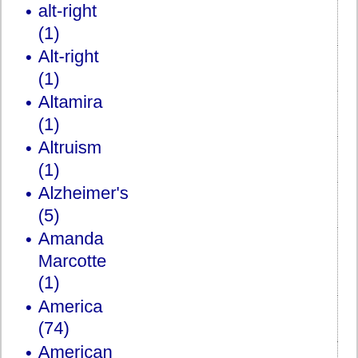alt-right (1)
Alt-right (1)
Altamira (1)
Altruism (1)
Alzheimer's (5)
Amanda Marcotte (1)
America (74)
American Affairs (1)
American Conservatives and the EU